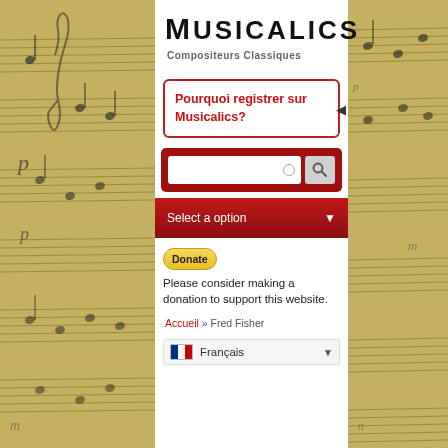[Figure (illustration): Music sheet manuscript background on left and right sides of the page]
Musicalics
Compositeurs Classiques
Pourquoi registrer sur Musicalics?
[Figure (other): Search bar with red background, text input field with circle icon, and magnifying glass search button]
Select a option
Donate  Please consider making a donation to support this website.
Accueil » Fred Fisher
Français